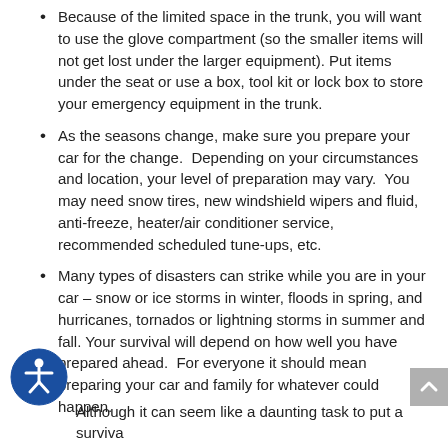Because of the limited space in the trunk, you will want to use the glove compartment (so the smaller items will not get lost under the larger equipment). Put items under the seat or use a box, tool kit or lock box to store your emergency equipment in the trunk.
As the seasons change, make sure you prepare your car for the change.  Depending on your circumstances and location, your level of preparation may vary.  You may need snow tires, new windshield wipers and fluid, anti-freeze, heater/air conditioner service, recommended scheduled tune-ups, etc.
Many types of disasters can strike while you are in your car – snow or ice storms in winter, floods in spring, and hurricanes, tornados or lightning storms in summer and fall. Your survival will depend on how well you have prepared ahead.  For everyone it should mean preparing your car and family for whatever could happen.
Although it can seem like a daunting task to put a survival kit together, it can be done.